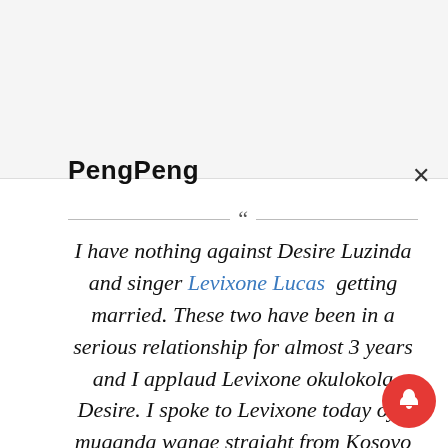PengPeng
I have nothing against Desire Luzinda and singer Levixone Lucas getting married. These two have been in a serious relationship for almost 3 years and I applaud Levixone okulokola Desire. I spoke to Levixone today oyo muganda wange straight from Kosovo n he has nothing against Desire's flaws n her past